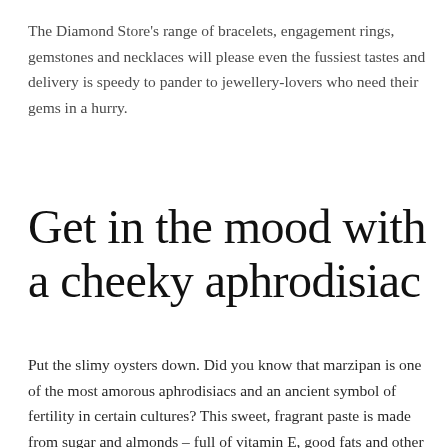The Diamond Store's range of bracelets, engagement rings, gemstones and necklaces will please even the fussiest tastes and delivery is speedy to pander to jewellery-lovers who need their gems in a hurry.
Get in the mood with a cheeky aphrodisiac
Put the slimy oysters down. Did you know that marzipan is one of the most amorous aphrodisiacs and an ancient symbol of fertility in certain cultures? This sweet, fragrant paste is made from sugar and almonds – full of vitamin E, good fats and other healthy nutrients said to boost sexual desire…